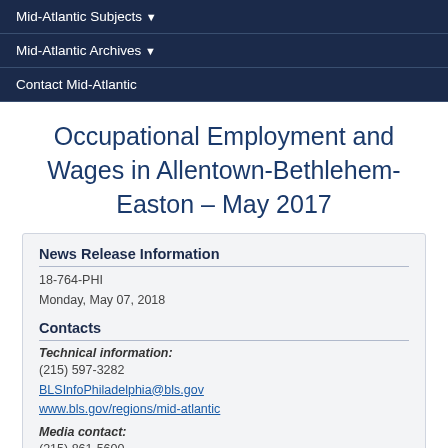Mid-Atlantic Subjects ▾
Mid-Atlantic Archives ▾
Contact Mid-Atlantic
Occupational Employment and Wages in Allentown-Bethlehem-Easton – May 2017
News Release Information
18-764-PHI
Monday, May 07, 2018
Contacts
Technical information:
(215) 597-3282
BLSInfoPhiladelphia@bls.gov
www.bls.gov/regions/mid-atlantic
Media contact:
(215) 861-5600
BLSMediaPhiladelphia@bls.gov